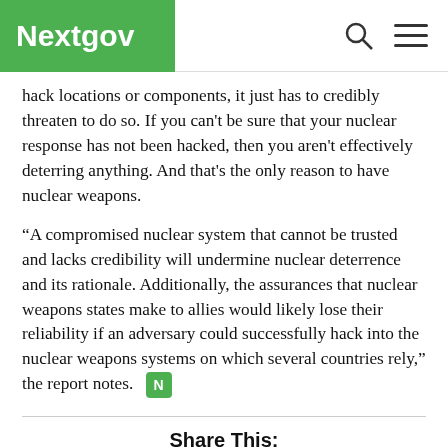Nextgov
hack locations or components, it just has to credibly threaten to do so. If you can't be sure that your nuclear response has not been hacked, then you aren't effectively deterring anything. And that's the only reason to have nuclear weapons.
“A compromised nuclear system that cannot be trusted and lacks credibility will undermine nuclear deterrence and its rationale. Additionally, the assurances that nuclear weapons states make to allies would likely lose their reliability if an adversary could successfully hack into the nuclear weapons systems on which several countries rely,” the report notes.
Share This:
[Figure (infographic): Social sharing icons: Twitter (blue bird), LinkedIn (blue 'in'), Facebook (dark blue 'f'), Email (grey envelope), Comments (grey speech bubble)]
NEXT STORY: 45 Percent of Federal Email Domains